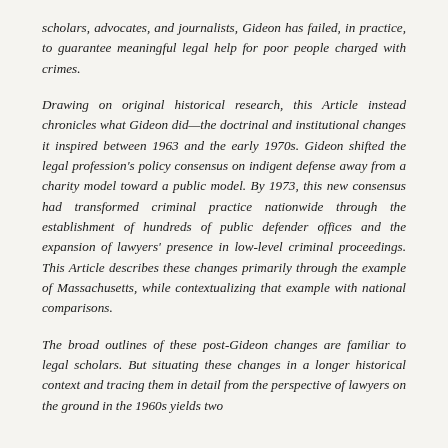scholars, advocates, and journalists, Gideon has failed, in practice, to guarantee meaningful legal help for poor people charged with crimes.
Drawing on original historical research, this Article instead chronicles what Gideon did—the doctrinal and institutional changes it inspired between 1963 and the early 1970s. Gideon shifted the legal profession's policy consensus on indigent defense away from a charity model toward a public model. By 1973, this new consensus had transformed criminal practice nationwide through the establishment of hundreds of public defender offices and the expansion of lawyers' presence in low-level criminal proceedings. This Article describes these changes primarily through the example of Massachusetts, while contextualizing that example with national comparisons.
The broad outlines of these post-Gideon changes are familiar to legal scholars. But situating these changes in a longer historical context and tracing them in detail from the perspective of lawyers on the ground in the 1960s yields two